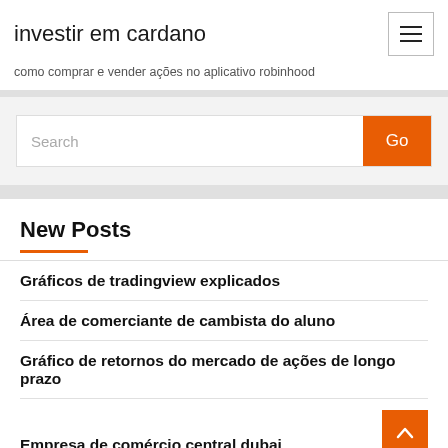investir em cardano
como comprar e vender ações no aplicativo robinhood
Search
New Posts
Gráficos de tradingview explicados
Área de comerciante de cambista do aluno
Gráfico de retornos do mercado de ações de longo prazo
Empresa de comércio central dubai
Perspectiva de estoques de petróleo